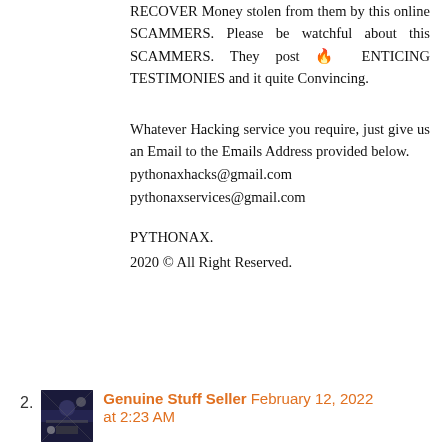RECOVER Money stolen from them by this online SCAMMERS. Please be watchful about this SCAMMERS. They post 🔥 ENTICING TESTIMONIES and it quite Convincing.
Whatever Hacking service you require, just give us an Email to the Emails Address provided below.
pythonaxhacks@gmail.com
pythonaxservices@gmail.com
PYTHONAX.
2020 © All Right Reserved.
2. Genuine Stuff Seller  February 12, 2022 at 2:23 AM